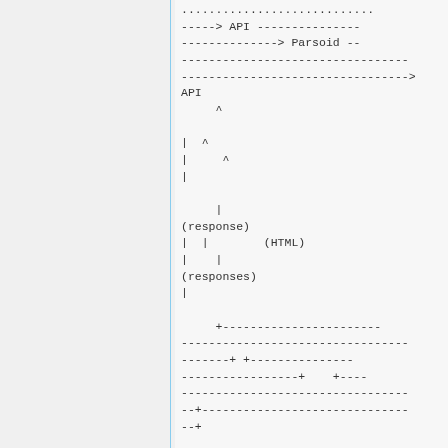[Figure (schematic): ASCII art diagram showing API and Parsoid communication flow with arrows and pipe characters indicating request/response paths. Shows dashed lines for connections, arrows (---> and <---), caret symbols (^) for upward flow, pipe characters (|) for vertical flow, and labels including API, Parsoid, (response), (HTML), (responses).]